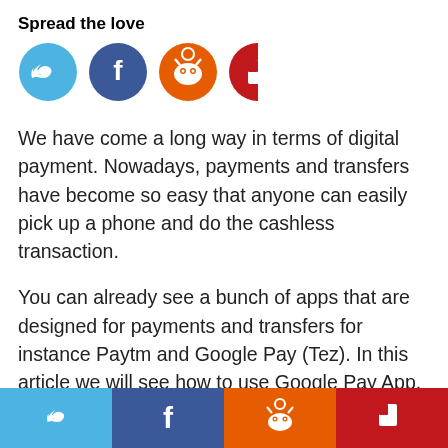Spread the love
[Figure (infographic): Four social share icon circles: Twitter (blue), Facebook (dark blue), Reddit (orange), Flipboard (red)]
We have come a long way in terms of digital payment. Nowadays, payments and transfers have become so easy that anyone can easily pick up a phone and do the cashless transaction.
You can already see a bunch of apps that are designed for payments and transfers for instance Paytm and Google Pay (Tez). In this article we will see how to use Google Pay App.
How you can set up Google pay (Tez), add back
[Figure (infographic): Bottom share bar with four buttons: Twitter (light blue), Facebook (dark blue), Reddit (orange), Flipboard (red)]